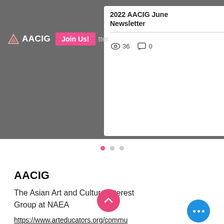[Figure (screenshot): Screenshot of AACIG website/app showing navigation bar with logo, Join Us button, hamburger menu, and a post card with title '2022 AACIG June Newsletter', 36 views, 0 comments]
[Figure (other): Carousel pagination dots — first dot active (pink), two inactive (grey)]
AACIG
The Asian Art and Culture Interest Group at NAEA
https://www.arteducators.org/community/articles/294-asian-art-and-culture-interest-group-aacig
Email: aacig.naea@gmail.com